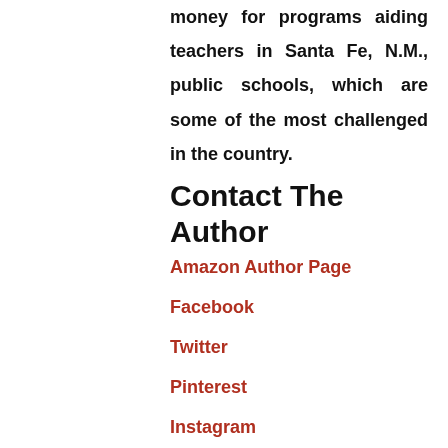money for programs aiding teachers in Santa Fe, N.M., public schools, which are some of the most challenged in the country.
Contact The Author
Amazon Author Page
Facebook
Twitter
Pinterest
Instagram
Goodreads